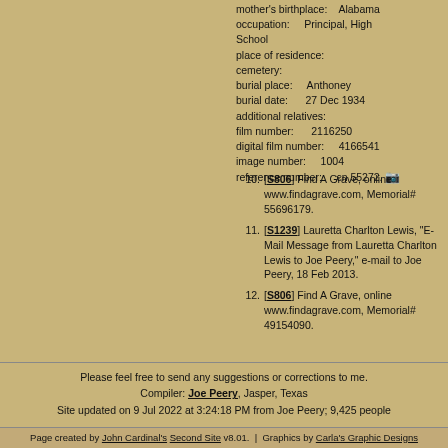mother's birthplace: Alabama
occupation: Principal, High School
place of residence:
cemetery:
burial place: Anthoney
burial date: 27 Dec 1934
additional relatives:
film number: 2116250
digital film number: 4166541
image number: 1004
reference number: cn 55272.
10. [S806] Find A Grave, online www.findagrave.com, Memorial# 55696179.
11. [S1239] Lauretta Charlton Lewis, "E-Mail Message from Lauretta Charlton Lewis to Joe Peery," e-mail to Joe Peery, 18 Feb 2013.
12. [S806] Find A Grave, online www.findagrave.com, Memorial# 49154090.
Please feel free to send any suggestions or corrections to me.
Compiler: Joe Peery, Jasper, Texas
Site updated on 9 Jul 2022 at 3:24:18 PM from Joe Peery; 9,425 people
Page created by John Cardinal's Second Site v8.01.  |  Graphics by Carla's Graphic Designs